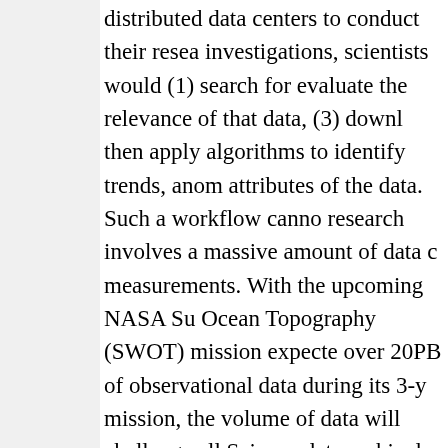distributed data centers to conduct their research investigations, scientists would (1) search for evaluate the relevance of that data, (3) down then apply algorithms to identify trends, anom attributes of the data. Such a workflow canno research involves a massive amount of data c measurements. With the upcoming NASA Su Ocean Topography (SWOT) mission expecte over 20PB of observational data during its 3-y mission, the volume of data will challenge all Science data archival, distribution and analys This paper discusses how OceanWorks enha analysis of physical ocean data where the co done on an elastic cloud platform next to the deliver fast, web-accessible services for work oceanographic measurements.